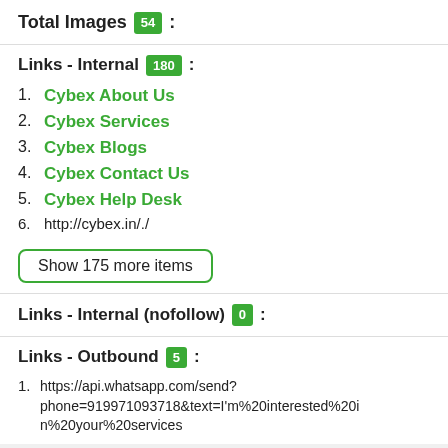Total Images 54 :
Links - Internal 180 :
1. Cybex About Us
2. Cybex Services
3. Cybex Blogs
4. Cybex Contact Us
5. Cybex Help Desk
6. http://cybex.in/./
Show 175 more items
Links - Internal (nofollow) 0 :
Links - Outbound 5 :
1. https://api.whatsapp.com/send?phone=919971093718&text=I'm%20interested%20in%20your%20services